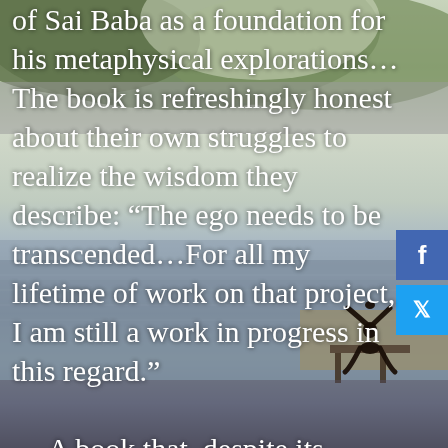[Figure (photo): Background photo of a serene lake with forested hills, misty light, and a silhouette of a person in a yoga/meditation pose sitting on a dock with arms raised overhead.]
of Sai Baba as a foundation for his metaphysical explorations…The book is refreshingly honest about their own struggles to realize the wisdom they describe: “The ego needs to be transcended…For all my lifetime of work on that project, I am still a work in progress in this regard.”

… A book that, despite its